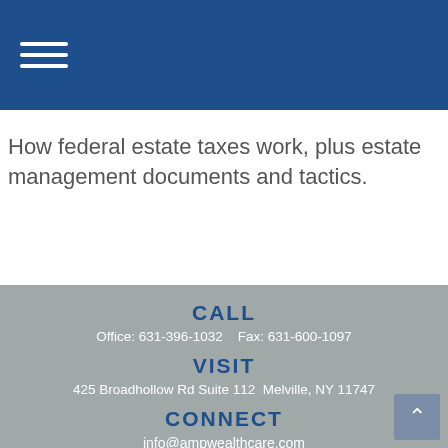How federal estate taxes work, plus estate management documents and tactics.
CALL
Office: 631-396-1032    Fax: 631-600-1097
VISIT
425 Broadhollow Rd Suite 112  Melville, NY 11747
CONNECT
info@ampwealthcare.com